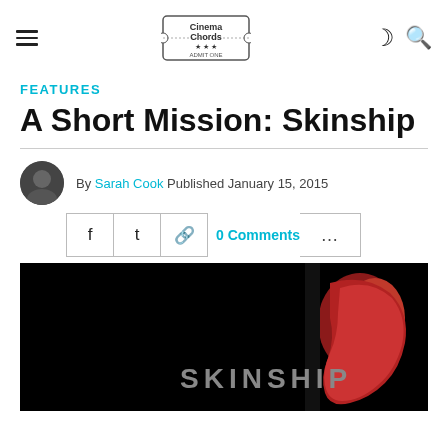Cinema Chords - ADMIT ONE
FEATURES
A Short Mission: Skinship
By Sarah Cook Published January 15, 2015
0 Comments
[Figure (photo): Dark movie poster image for 'SKINSHIP' showing a profile of a face lit in red on a black background with the word SKINSHIP in grey letters]